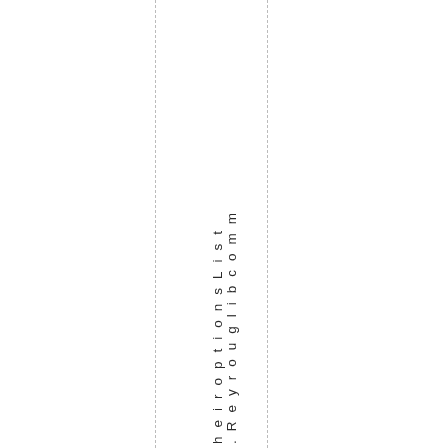heiroptionsList .Reyrouglibcomm